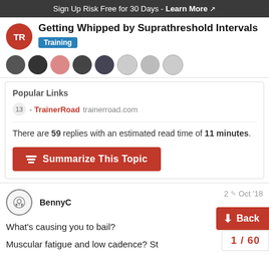Sign Up Risk Free for 30 Days - Learn More
Getting Whipped by Suprathreshold Intervals
Training
Popular Links
13 - TrainerRoad trainerroad.com
There are 59 replies with an estimated read time of 11 minutes.
Summarize This Topic
BennyC
2 Oct '18
What's causing you to bail?
Muscular fatigue and low cadence? St